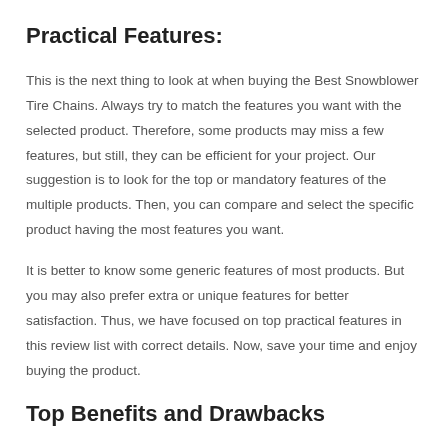Practical Features:
This is the next thing to look at when buying the Best Snowblower Tire Chains. Always try to match the features you want with the selected product. Therefore, some products may miss a few features, but still, they can be efficient for your project. Our suggestion is to look for the top or mandatory features of the multiple products. Then, you can compare and select the specific product having the most features you want.
It is better to know some generic features of most products. But you may also prefer extra or unique features for better satisfaction. Thus, we have focused on top practical features in this review list with correct details. Now, save your time and enjoy buying the product.
Top Benefits and Drawbacks